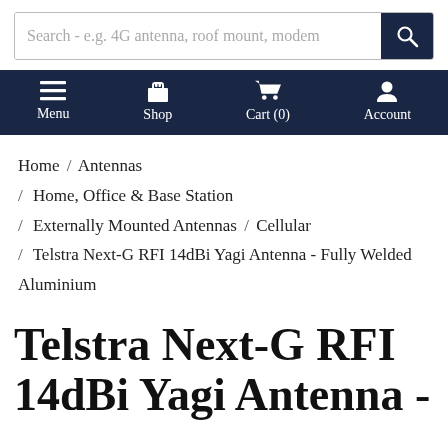[Figure (screenshot): Search bar with placeholder text 'Search - e.g. 4G antenna, roof mount, modem' and a dark navy search button with magnifying glass icon]
Menu  Shop  Cart (0)  Account
Home / Antennas / Home, Office & Base Station / Externally Mounted Antennas / Cellular / Telstra Next-G RFI 14dBi Yagi Antenna - Fully Welded Aluminium
Telstra Next-G RFI 14dBi Yagi Antenna -